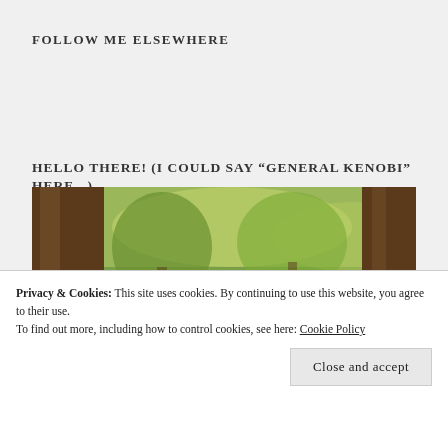FOLLOW ME ELSEWHERE
HELLO THERE! (I COULD SAY “GENERAL KENOBI” HERE...)
[Figure (photo): A young blonde girl smiling, sitting in front of a large tree trunk in a park with green leafy trees in the background]
Privacy & Cookies: This site uses cookies. By continuing to use this website, you agree to their use.
To find out more, including how to control cookies, see here: Cookie Policy
Close and accept